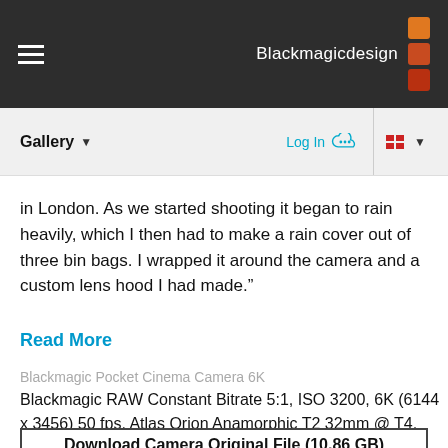Blackmagicdesign
Gallery  Log In
in London. As we started shooting it began to rain heavily, which I then had to make a rain cover out of three bin bags. I wrapped it around the camera and a custom lens hood I had made.”
Read More
Blackmagic Pocket Cinema Camera 6K
Blackmagic RAW Constant Bitrate 5:1, ISO 3200, 6K (6144 x 3456) 50 fps, Atlas Orion Anamorphic T2 32mm @ T4, EF mount
Download Camera Original File (10.86 GB)